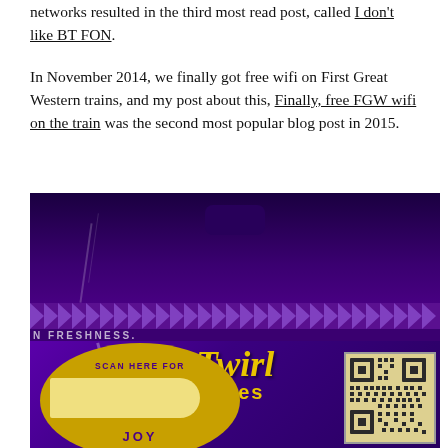networks resulted in the third most read post, called I don't like BT FON.
In November 2014, we finally got free wifi on First Great Western trains, and my post about this, Finally, free FGW wifi on the train was the second most popular blog post in 2015.
[Figure (photo): A close-up photo of a purple Cadbury Twirl Bites chocolate bag. The bag shows the 'Twirl Bites' logo in yellow lettering, a perforated strip near the top, text reading 'N FRESHNESS.' and a promotional panel at the bottom reading 'SCAN HERE FOR JOY' with a QR code.]